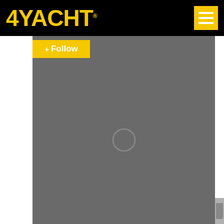[Figure (logo): 4YACHT logo in yellow on black background header bar with hamburger menu button]
[Figure (screenshot): Mobile website screenshot showing 4YACHT website with black header, yellow Follow button, and large gray content placeholder area with a circular play icon in the center]